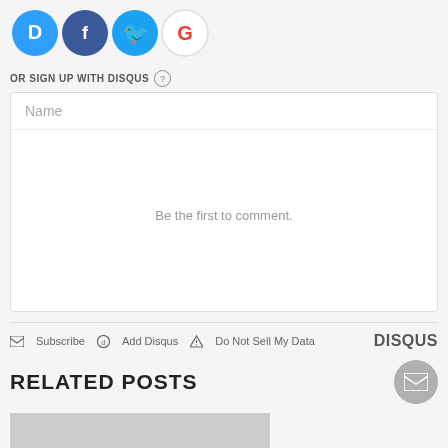[Figure (illustration): Social login icons: Disqus (blue), Facebook (dark blue), Twitter (light blue), Google (red/white)]
OR SIGN UP WITH DISQUS ?
[Figure (screenshot): Name input text field with placeholder text 'Name']
Be the first to comment.
Subscribe  Add Disqus  Do Not Sell My Data  DISQUS
RELATED POSTS